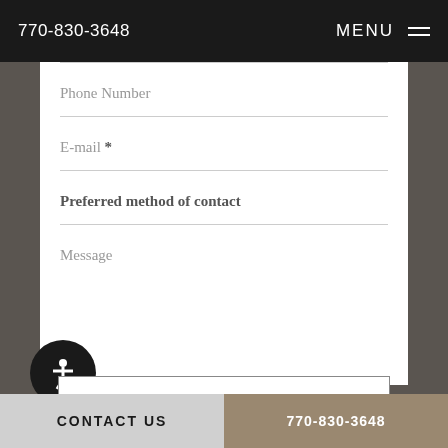770-830-3648   MENU
Phone Number
E-mail *
Preferred method of contact
Message
send message
CONTACT US   770-830-3648